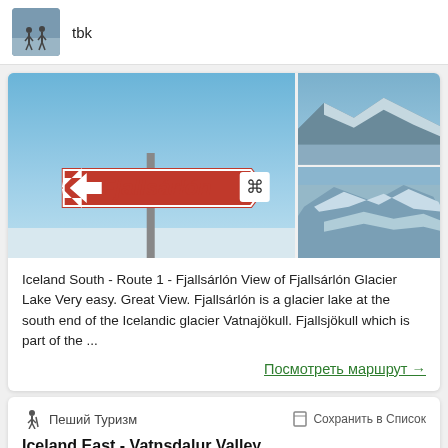tbk
[Figure (photo): Main photo of Fjallsárlón road sign pointing left, with blue sky background. Two smaller photos on the right show glacier and icy lake scenes.]
Iceland South - Route 1 - Fjallsárlón View of Fjallsárlón Glacier Lake Very easy. Great View. Fjallsárlón is a glacier lake at the south end of the Icelandic glacier Vatnajökull. Fjallsjökull which is part of the ...
Посмотреть маршрут →
Пеший Туризм
Сохранить в Список
Iceland East - Vatnsdalur Valley